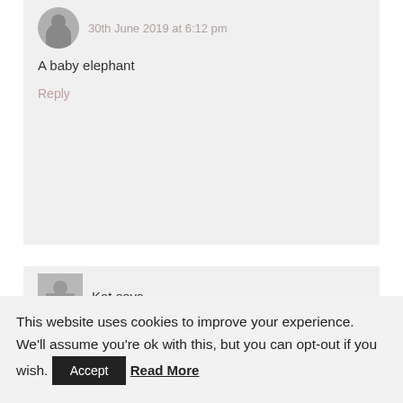30th June 2019 at 6:12 pm
A baby elephant
Reply
Kat says
This website uses cookies to improve your experience. We'll assume you're ok with this, but you can opt-out if you wish. Accept Read More